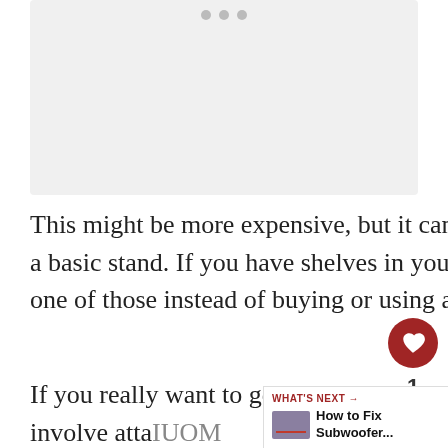[Figure (photo): Image placeholder area with three dots indicating a carousel indicator at the top]
This might be more expensive, but it can often look nicer and offer more features than a basic stand. If you have shelves in your room, you could also try placing the TV on one of those instead of buying or using a stand.
If you really want to get creative, you could build your own custom stand. This could involve atta[ching] pieces of wood or metal together with screws or nails, or even [using LEGO blocks (or some other type of building...]